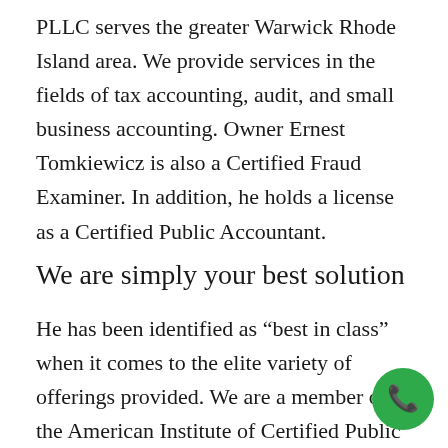PLLC serves the greater Warwick Rhode Island area. We provide services in the fields of tax accounting, audit, and small business accounting. Owner Ernest Tomkiewicz is also a Certified Fraud Examiner. In addition, he holds a license as a Certified Public Accountant.
We are simply your best solution
He has been identified as “best in class” when it comes to the elite variety of offerings provided. We are a member of the American Institute of Certified Public Accountants (AICPA), the New
[Figure (illustration): Green circular phone call icon in the bottom right corner]